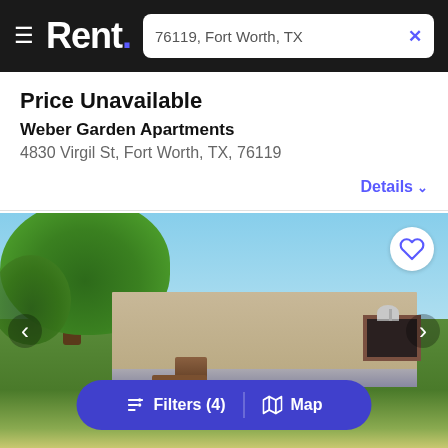Rent. — 76119, Fort Worth, TX
Price Unavailable
Weber Garden Apartments
4830 Virgil St, Fort Worth, TX, 76119
Details
[Figure (photo): Exterior photo of a mobile home with beige siding, brown shuttered window, wooden steps, satellite dish on roof, large tree in background, green grass lawn. Navigation arrows on left and right sides, heart/favorite button top right.]
Filters (4) | Map